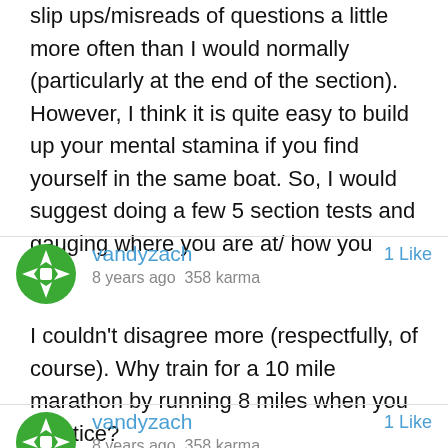slip ups/misreads of questions a little more often than I would normally (particularly at the end of the section). However, I think it is quite easy to build up your mental stamina if you find yourself in the same boat. So, I would suggest doing a few 5 section tests and gauging where you are at/ how you feel.
[Figure (illustration): Green avatar icon for user vandyzach]
vandyzach
8 years ago  358 karma
1 Like
I couldn't disagree more (respectfully, of course). Why train for a 10 mile marathon by running 8 miles when you practice?
[Figure (illustration): Green avatar icon for user vandyzach (second comment)]
vandyzach
8 years ago  358 karma
1 Like